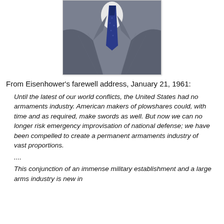[Figure (photo): Cropped photo of a man in a gray suit with a blue tie, shown from chest up, no face visible]
From Eisenhower's farewell address, January 21, 1961:
Until the latest of our world conflicts, the United States had no armaments industry. American makers of plowshares could, with time and as required, make swords as well. But now we can no longer risk emergency improvisation of national defense; we have been compelled to create a permanent armaments industry of vast proportions.
....
This conjunction of an immense military establishment and a large arms industry is new in